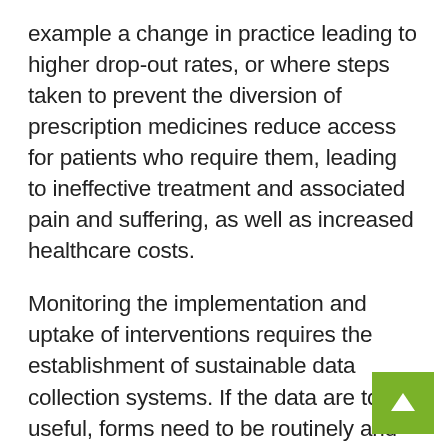example a change in practice leading to higher drop-out rates, or where steps taken to prevent the diversion of prescription medicines reduce access for patients who require them, leading to ineffective treatment and associated pain and suffering, as well as increased healthcare costs.
Monitoring the implementation and uptake of interventions requires the establishment of sustainable data collection systems. If the data are to be useful, forms need to be routinely and properly completed. Results should be fed back to staff to demonstrate the value of data collection. Examples of the types of questions that need to be asked